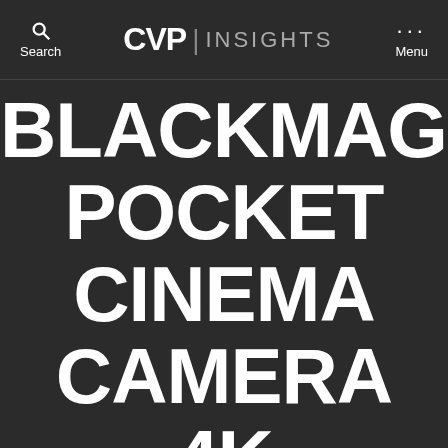CVP | INSIGHTS
BLACKMAGIC POCKET CINEMA CAMERA 4K GIMBAL